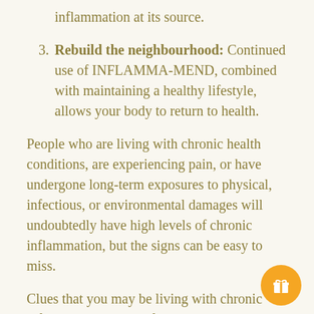inflammation at its source.
3. Rebuild the neighbourhood: Continued use of INFLAMMA-MEND, combined with maintaining a healthy lifestyle, allows your body to return to health.
People who are living with chronic health conditions, are experiencing pain, or have undergone long-term exposures to physical, infectious, or environmental damages will undoubtedly have high levels of chronic inflammation, but the signs can be easy to miss.
Clues that you may be living with chronic inflammation include fatigue, pain, depression, anxiety, digestive disorders, insomnia, frequent